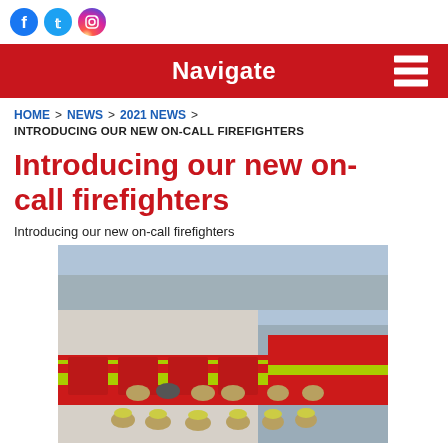[Figure (logo): Social media icons: Facebook (blue circle), Twitter (blue circle), Instagram (pink/purple circle)]
Navigate
HOME > NEWS > 2021 NEWS > INTRODUCING OUR NEW ON-CALL FIREFIGHTERS
Introducing our new on-call firefighters
Introducing our new on-call firefighters
[Figure (photo): Group photo of on-call firefighters in yellow/tan fire gear standing in front of red fire engines at a fire station.]